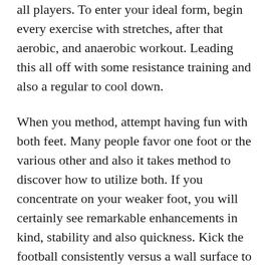all players. To enter your ideal form, begin every exercise with stretches, after that aerobic, and anaerobic workout. Leading this all off with some resistance training and also a regular to cool down.
When you method, attempt having fun with both feet. Many people favor one foot or the various other and also it takes method to discover how to utilize both. If you concentrate on your weaker foot, you will certainly see remarkable enhancements in kind, stability and also quickness. Kick the football consistently versus a wall surface to enhance your weaker foot.
Educate yourself on the game. Discover everything you can around football on and off the area. Look back at the background of the sport, and also